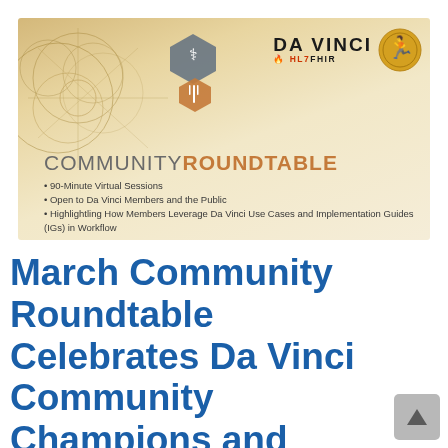[Figure (infographic): Da Vinci HL7 FHIR Community Roundtable banner with golden/beige background, Da Vinci sketch art on left, stethoscope hexagon icon and fork-hexagon icon in center, Da Vinci Vitruvian Man logo on right, 'COMMUNITY ROUNDTABLE' heading, and bullet points listing session details.]
March Community Roundtable Celebrates Da Vinci Community Champions and Showcases MiHIN's